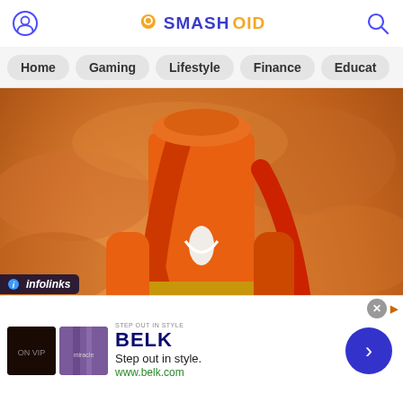Smashoid — navigation header with user icon, logo (SMASHOID), and search icon
Home
Gaming
Lifestyle
Finance
Educat
[Figure (illustration): An illustration of a figure dressed in traditional Indian royal attire — an orange kurta with gold trim, draped cloth, white churidar pants, and gold footwear — standing on stone steps against an orange cloudy background.]
infolinks
STEP OUT IN STYLE
BELK
Step out in style.
www.belk.com